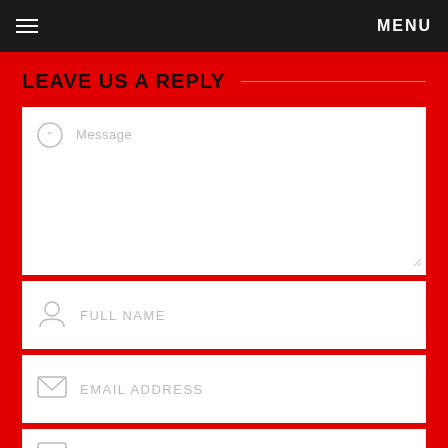MENU
LEAVE US A REPLY
Message
FULL NAME
EMAIL ADDRESS